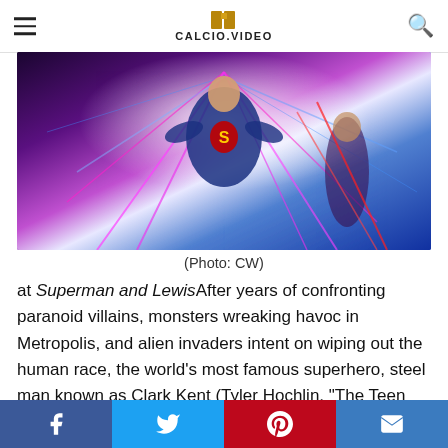CALCIO.VIDEO
[Figure (photo): Superman character in blue suit with S logo, surrounded by colorful energy lightning effects in purple, pink, and blue, with a woman visible in the background right]
(Photo: CW)
at Superman and LewisAfter years of confronting paranoid villains, monsters wreaking havoc in Metropolis, and alien invaders intent on wiping out the human race, the world’s most famous superhero, steel man known as Clark Kent (Tyler Hochlin, “The Teen Wolf”) and photojournalism books Most famously, Lewis Lynn (Elizabeth Tullock,
Facebook Twitter Pinterest Email